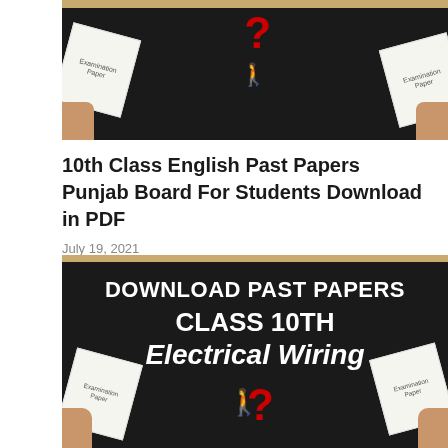[Figure (photo): Dark/black background image with examination paper cards on left and right edges, a red question mark and white figurine in the center, with a tan/gold top border strip.]
10th Class English Past Papers Punjab Board For Students Download in PDF
July 19, 2021
[Figure (photo): Black background promotional image with white bold text reading 'DOWNLOAD PAST PAPERS CLASS 10TH Electrical Wiring', examination paper cards on left and right sides, red question mark and white figurine in center, tan/gold top border strip.]